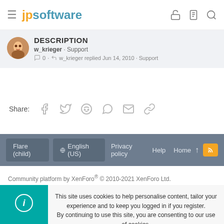jpsoftware
DESCRIPTION · w_krieger · Support · 0 · w_krieger replied Jun 14, 2010 · Support
Share:
Flare (child) · English (US) · Privacy policy · Help · Home
Community platform by XenForo® © 2010-2021 XenForo Ltd.
This site uses cookies to help personalise content, tailor your experience and to keep you logged in if you register. By continuing to use this site, you are consenting to our use of cookies.